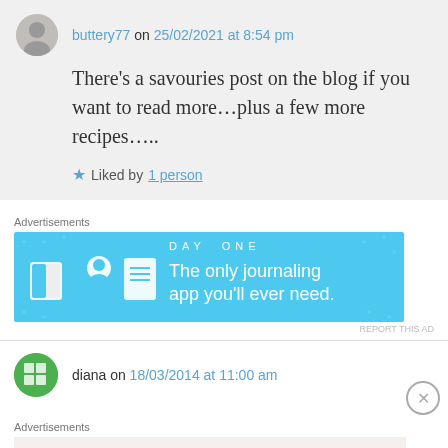buttery77 on 25/02/2021 at 8:54 pm
There's a savouries post on the blog if you want to read more…plus a few more recipes…..
Liked by 1 person
Advertisements
[Figure (other): DAY ONE app advertisement - blue background with icons and text: The only journaling app you'll ever need.]
REPORT THIS AD
diana on 18/03/2014 at 11:00 am
Advertisements
[Figure (other): MAC cosmetics advertisement with lipsticks and SHOP NOW text]